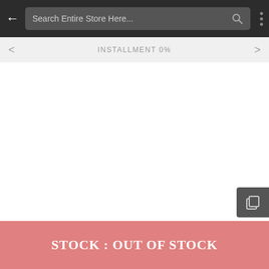Search Entire Store Here...
INSTALLMENT 0%
STOCK : OUT OF STOCK